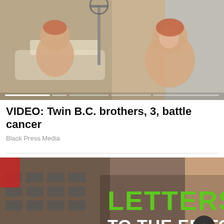[Figure (photo): Two toddler twin boys sitting on a hospital bed, one facing away and one smiling at the camera, with medical equipment visible in the background.]
VIDEO: Twin B.C. brothers, 3, battle cancer
Black Press Media
[Figure (photo): Image of a keyboard with overlaid text 'LETTERS TO THE EDITOR' in green and white block letters, with a dark circular scroll-up button in the bottom right.]